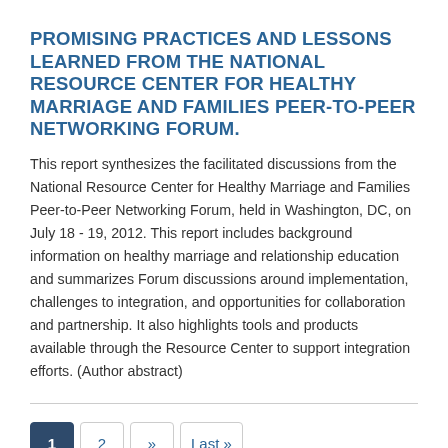PROMISING PRACTICES AND LESSONS LEARNED FROM THE NATIONAL RESOURCE CENTER FOR HEALTHY MARRIAGE AND FAMILIES PEER-TO-PEER NETWORKING FORUM.
This report synthesizes the facilitated discussions from the National Resource Center for Healthy Marriage and Families Peer-to-Peer Networking Forum, held in Washington, DC, on July 18 - 19, 2012. This report includes background information on healthy marriage and relationship education and summarizes Forum discussions around implementation, challenges to integration, and opportunities for collaboration and partnership. It also highlights tools and products available through the Resource Center to support integration efforts. (Author abstract)